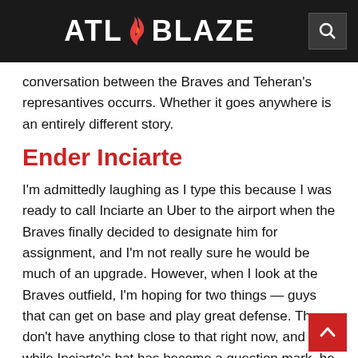ATL BLAZE
conversation between the Braves and Teheran's represantives occurrs. Whether it goes anywhere is an entirely different story.
Ender Inciarte
I'm admittedly laughing as I type this because I was ready to call Inciarte an Uber to the airport when the Braves finally decided to designate him for assignment, and I'm not really sure he would be much of an upgrade. However, when I look at the Braves outfield, I'm hoping for two things — guys that can get on base and play great defense. They don't have anything close to that right now, and while Inciarte's bat has become a question mark, he can get on base at a decent clip and is elite in the field. Inciarte is currently in the Yankees farm system, but I doubt it will take more than a ham sandwich to acquire him if the Braves were interested.